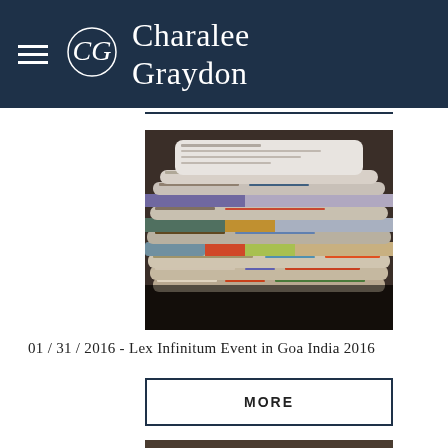Charalee Graydon
[Figure (photo): Stack of rolled and folded newspapers piled on a dark surface, viewed from the side, showing colorful print and text]
01 / 31 / 2016 - Lex Infinitum Event in Goa India 2016
MORE
[Figure (photo): Partially visible newspaper, bottom of page, showing close-up of printed page]